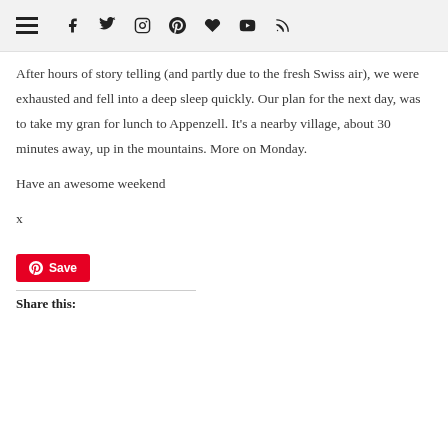[navigation bar with hamburger menu and social icons: facebook, twitter, instagram, pinterest, heart, youtube, rss]
After hours of story telling (and partly due to the fresh Swiss air), we were exhausted and fell into a deep sleep quickly. Our plan for the next day, was to take my gran for lunch to Appenzell. It’s a nearby village, about 30 minutes away, up in the mountains. More on Monday.
Have an awesome weekend
x
[Figure (other): Red Pinterest Save button with Pinterest logo icon]
Share this: